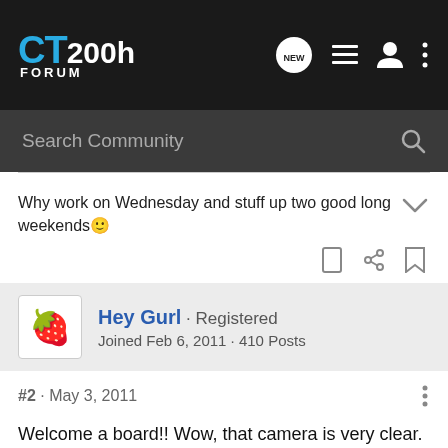CT200h FORUM
Search Community
Why work on Wednesday and stuff up two good long weekends 🙂
Hey Gurl · Registered
Joined Feb 6, 2011 · 410 Posts
#2 · May 3, 2011
Welcome a board!! Wow, that camera is very clear. Quite interesting! ;-)